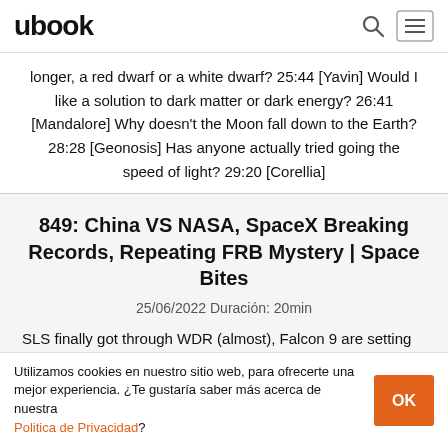ubook
longer, a red dwarf or a white dwarf? 25:44 [Yavin] Would I like a solution to dark matter or dark energy? 26:41 [Mandalore] Why doesn't the Moon fall down to the Earth? 28:28 [Geonosis] Has anyone actually tried going the speed of light? 29:20 [Corellia]
849: China VS NASA, SpaceX Breaking Records, Repeating FRB Mystery | Space Bites
25/06/2022 Duración: 20min
SLS finally got through WDR (almost), Falcon 9 are setting new
Utilizamos cookies en nuestro sitio web, para ofrecerte una mejor experiencia. ¿Te gustaría saber más acerca de nuestra Politica de Privacidad?